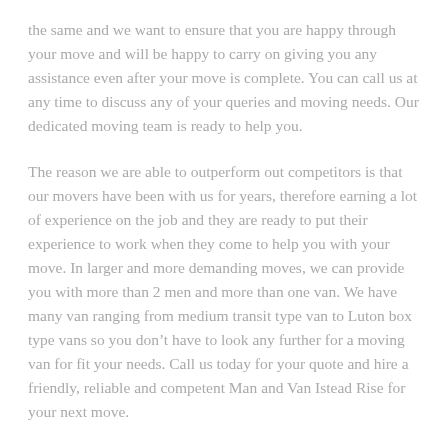the same and we want to ensure that you are happy through your move and will be happy to carry on giving you any assistance even after your move is complete. You can call us at any time to discuss any of your queries and moving needs. Our dedicated moving team is ready to help you.
The reason we are able to outperform out competitors is that our movers have been with us for years, therefore earning a lot of experience on the job and they are ready to put their experience to work when they come to help you with your move. In larger and more demanding moves, we can provide you with more than 2 men and more than one van. We have many van ranging from medium transit type van to Luton box type vans so you don't have to look any further for a moving van for fit your needs. Call us today for your quote and hire a friendly, reliable and competent Man and Van Istead Rise for your next move.